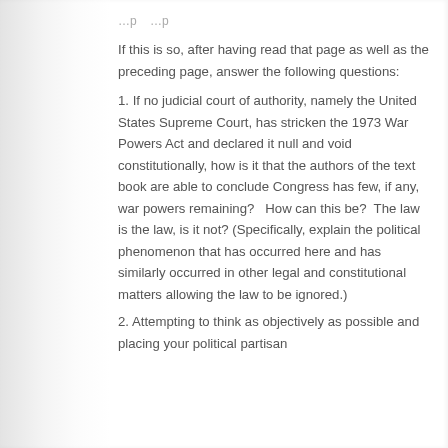…p… …p…
If this is so, after having read that page as well as the preceding page, answer the following questions:
1. If no judicial court of authority, namely the United States Supreme Court, has stricken the 1973 War Powers Act and declared it null and void constitutionally, how is it that the authors of the text book are able to conclude Congress has few, if any, war powers remaining?  How can this be?  The law is the law, is it not? (Specifically, explain the political phenomenon that has occurred here and has similarly occurred in other legal and constitutional matters allowing the law to be ignored.)
2. Attempting to think as objectively as possible and placing your political partisan